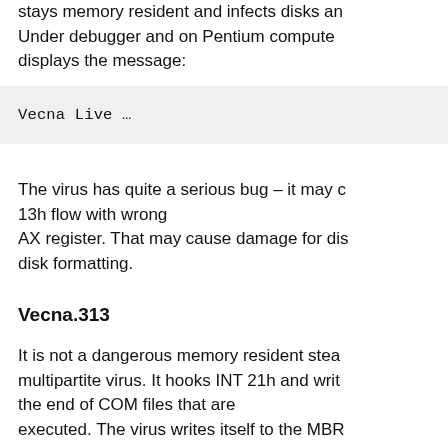stays memory resident and infects disks and drives. Under debugger and on Pentium computers it displays the message:
Vecna Live …
The virus has quite a serious bug – it may corrupt INT 13h flow with wrong AX register. That may cause damage for disks during disk formatting.
Vecna.313
It is not a dangerous memory resident stealth multipartite virus. It hooks INT 21h and writes itself to the end of COM files that are executed. The virus writes itself to the MBR when an infected COM file is started, it then returns control back to the file. On loading from the MBR sector the virus hooks INT 13h and hides virus code in